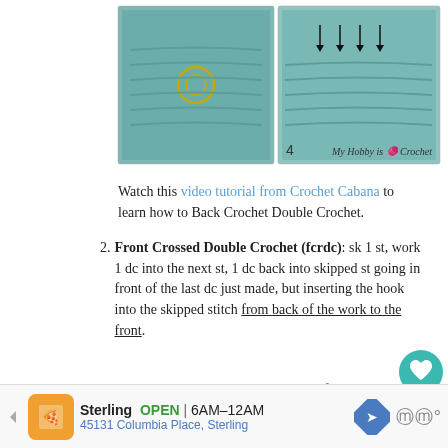[Figure (photo): Two photos of crochet work in teal yarn; left shows ring/stitch marker, right shows arrows pointing to stitches with number 4 label and 'My Hobby is Crochet' watermark]
Watch this video tutorial from Crochet Cabana to learn how to Back Crochet Double Crochet.
Front Crossed Double Crochet (fcrdc): sk 1 st, work 1 dc into the next st, 1 dc back into skipped st going in front of the last dc just made, but inserting the hook into the skipped stitch from back of the work to the front.
This is an important step to obtain the arrow look of this aran pattern!
[Figure (photo): Two photos of hands crocheting with teal yarn, showing crochet hook technique]
Sterling  OPEN  6AM–12AM  45131 Columbia Place, Sterling